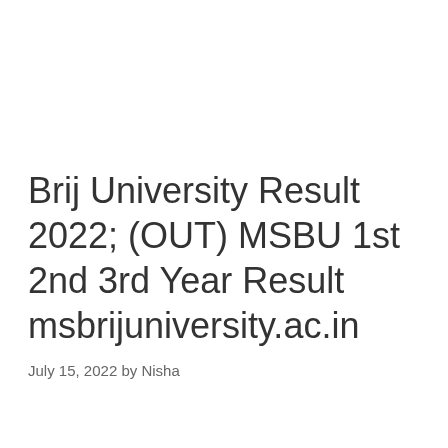Brij University Result 2022; (OUT) MSBU 1st 2nd 3rd Year Result msbrijuniversity.ac.in
July 15, 2022 by Nisha